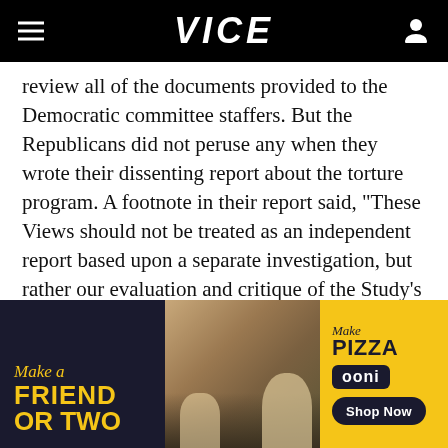VICE
review all of the documents provided to the Democratic committee staffers. But the Republicans did not peruse any when they wrote their dissenting report about the torture program. A footnote in their report said, "These Views should not be treated as an independent report based upon a separate investigation, but rather our evaluation and critique of the Study's problematic analysis, factual findings, and
[Figure (photo): Advertisement banner: Left dark section with yellow text 'Make a FRIEND OR TWO', center photo of a picnic scene with dogs and people, right yellow section with 'Make PIZZA ooni Shop Now']